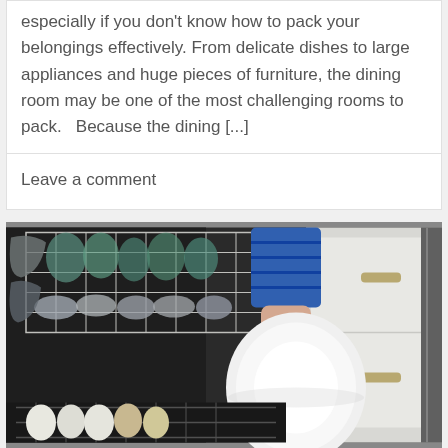especially if you don't know how to pack your belongings effectively. From delicate dishes to large appliances and huge pieces of furniture, the dining room may be one of the most challenging rooms to pack.   Because the dining [...]
Leave a comment
[Figure (photo): A person loading dishes into a dishwasher, with their hand placing a white plate into the lower rack. The dishwasher is open and filled with various dishes and glassware in the upper basket. Kitchen cabinets are visible in the background.]